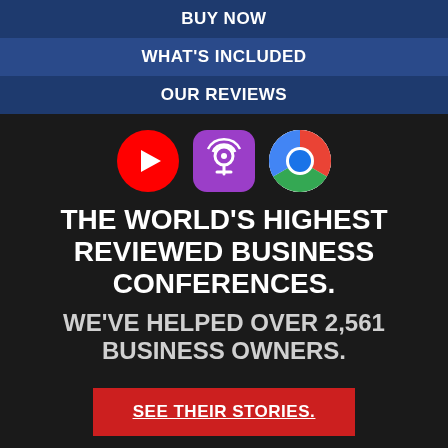BUY NOW
WHAT'S INCLUDED
OUR REVIEWS
[Figure (illustration): Three app icons in a row: YouTube (red circle with white play button), Apple Podcasts (purple rounded square with white podcast icon), Google Chrome (circular multicolor logo)]
THE WORLD'S HIGHEST REVIEWED BUSINESS CONFERENCES. WE'VE HELPED OVER 2,561 BUSINESS OWNERS.
SEE THEIR STORIES.